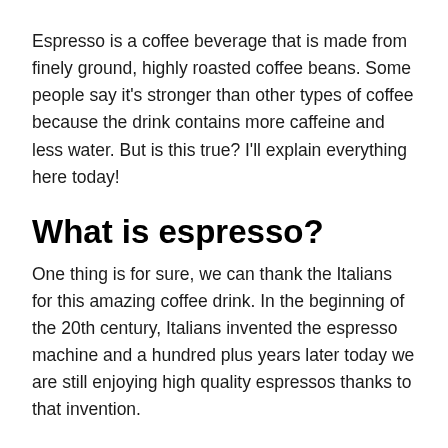Espresso is a coffee beverage that is made from finely ground, highly roasted coffee beans. Some people say it's stronger than other types of coffee because the drink contains more caffeine and less water. But is this true? I'll explain everything here today!
What is espresso?
One thing is for sure, we can thank the Italians for this amazing coffee drink. In the beginning of the 20th century, Italians invented the espresso machine and a hundred plus years later today we are still enjoying high quality espressos thanks to that invention.